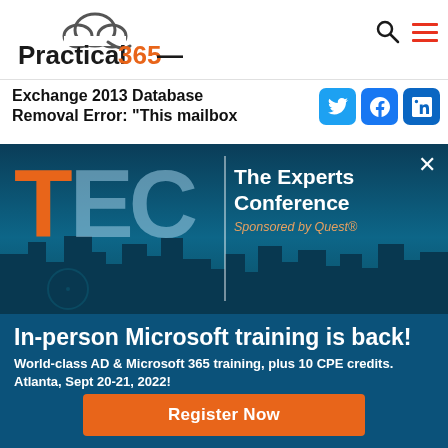[Figure (logo): Practical 365 logo with cloud icon]
Exchange 2013 Database Removal Error: “This mailbox database contains one or more mailboxes”
[Figure (infographic): TEC - The Experts Conference banner sponsored by Quest, showing city skyline of Atlanta]
In-person Microsoft training is back!
World-class AD & Microsoft 365 training, plus 10 CPE credits.
Atlanta, Sept 20-21, 2022!
Register Now